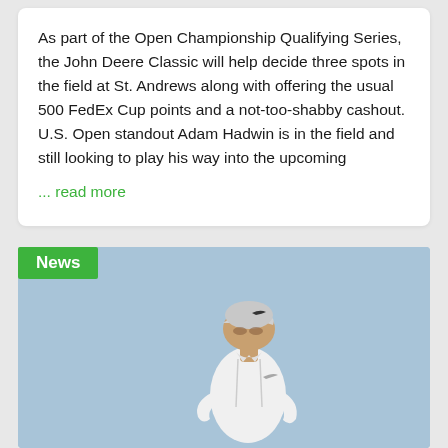As part of the Open Championship Qualifying Series, the John Deere Classic will help decide three spots in the field at St. Andrews along with offering the usual 500 FedEx Cup points and a not-too-shabby cashout. U.S. Open standout Adam Hadwin is in the field and still looking to play his way into the upcoming
... read more
[Figure (photo): Photo of a male golfer wearing a white Nike polo shirt and white Nike cap, with hands on hips, against a blue sky background. A green 'News' badge is overlaid in the top-left corner of the image.]